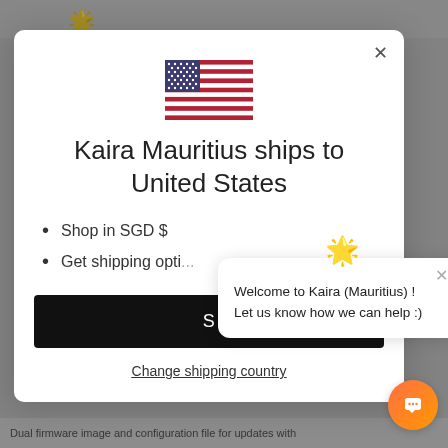[Figure (screenshot): Screenshot of a web page with a modal dialog. The modal shows a US flag, text 'Kaira Mauritius ships to United States', bullet points 'Shop in SGD $' and 'Get shipping opti...', a black button with 'S...', and a 'Change shipping country' link. A chat popup overlays the lower right with a star icon, close button, and text 'Welcome to Kaira (Mauritius) ! Let us know how we can help :)'. An orange chat button is at the bottom right.]
Kaira Mauritius ships to United States
Shop in SGD $
Get shipping options for United States
Welcome to Kaira (Mauritius) ! Let us know how we can help :)
Change shipping country
Dual firmware image and configuration file for updates with